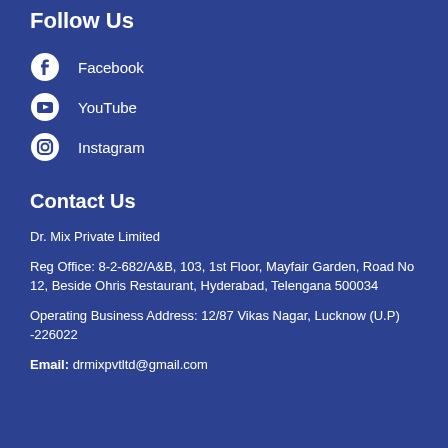Follow Us
Facebook
YouTube
Instagram
Contact Us
Dr. Mix Private Limited
Reg Office: 8-2-682/A&B, 103, 1st Floor, Mayfair Garden, Road No 12, Beside Ohris Restaurant, Hyderabad, Telengana 500034
Operating Business Address: 12/87 Vikas Nagar, Lucknow (U.P) -226022
Email: drmixpvtltd@gmail.com